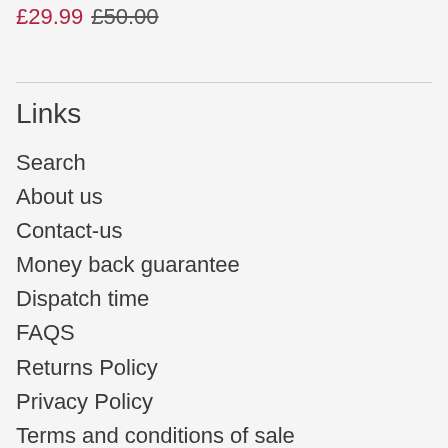£29.99 £50.00
Links
Search
About us
Contact-us
Money back guarantee
Dispatch time
FAQS
Returns Policy
Privacy Policy
Terms and conditions of sale